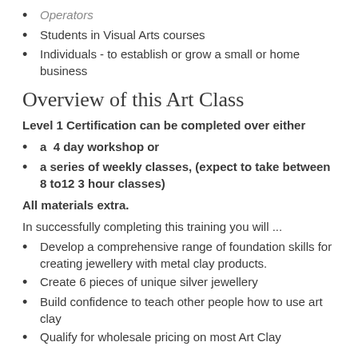Operators
Students in Visual Arts courses
Individuals - to establish or grow a small or home business
Overview of this Art Class
Level 1 Certification can be completed over either
a  4 day workshop or
a series of weekly classes, (expect to take between 8 to12 3 hour classes)
All materials extra.
In successfully completing this training you will ...
Develop a comprehensive range of foundation skills for creating jewellery with metal clay products.
Create 6 pieces of unique silver jewellery
Build confidence to teach other people how to use art clay
Qualify for wholesale pricing on most Art Clay